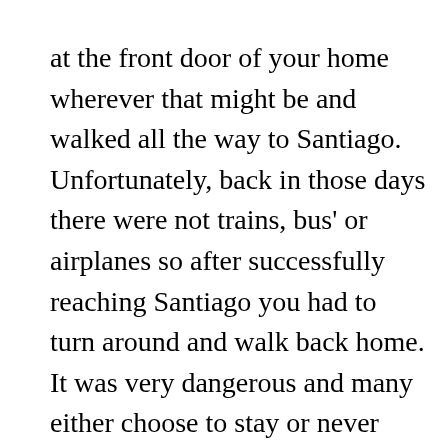at the front door of your home wherever that might be and walked all the way to Santiago. Unfortunately, back in those days there were not trains, bus' or airplanes so after successfully reaching Santiago you had to turn around and walk back home. It was very dangerous and many either choose to stay or never made it home.

The first day out of Saint Jean pied du Port you can travel one of two different routes. The first and most famous is the route Napoleon which goes directly up and over the Pyrenees. It is of course a beautiful if not strenuous 27 km walk up and over the mountains. The other choice is the Valcarlos